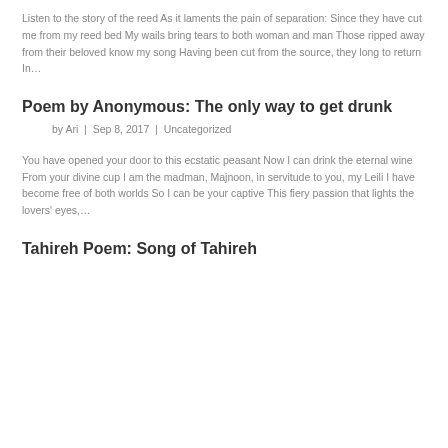Listen to the story of the reed As it laments the pain of separation: Since they have cut me from my reed bed My wails bring tears to both woman and man Those ripped away from their beloved know my song Having been cut from the source, they long to return In…
Poem by Anonymous: The only way to get drunk
by Ari | Sep 8, 2017 | Uncategorized
You have opened your door to this ecstatic peasant Now I can drink the eternal wine From your divine cup I am the madman, Majnoon, in servitude to you, my Leili I have become free of both worlds So I can be your captive This fiery passion that lights the lovers' eyes,…
Tahireh Poem: Song of Tahireh